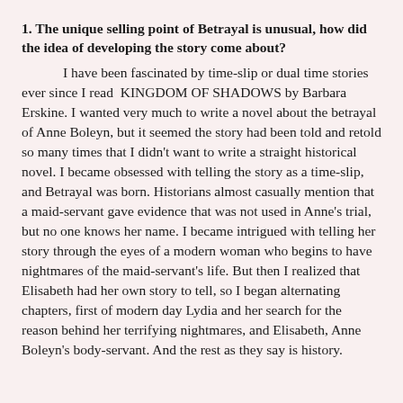1.  The unique selling point of Betrayal is unusual, how did the idea of developing the story come about?
I have been fascinated by time-slip or dual time stories ever since I read  KINGDOM OF SHADOWS by Barbara Erskine.  I wanted very much to write a novel about the betrayal of Anne Boleyn, but it seemed the story had been told and retold so many times that I didn't want to write a straight historical novel.  I became obsessed with telling the story as a time-slip, and Betrayal was born.  Historians almost casually mention that a maid-servant gave evidence that was not used in Anne's trial, but no one knows her name.  I became intrigued with telling her story through the eyes of a modern woman who begins to have nightmares of the maid-servant's life. But then I realized that Elisabeth had her own story to tell, so I began alternating chapters, first of modern day Lydia and her search for the reason behind her terrifying nightmares, and Elisabeth, Anne Boleyn's body-servant.  And the rest as they say is history.